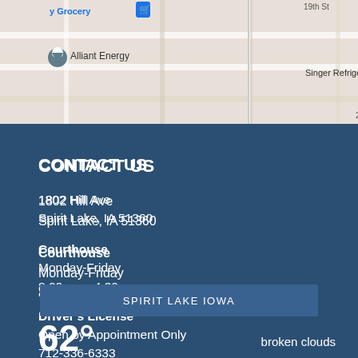[Figure (map): Google Maps screenshot showing area around 1802 Hill Ave, Spirit Lake, IA with Alliant Energy marker, nearby streets including 19th St, 21st St, and Singer Refrigeration label]
CONTACT US
1802 Hill Ave
Spirit Lake, IA 51360
Courthouse
Monday-Friday
8:00 a.m.-4:30 p.m.
Driver's License
Open by Appointment Only
712-336-6333
SPIRIT LAKE IOWA
62°
broken clouds